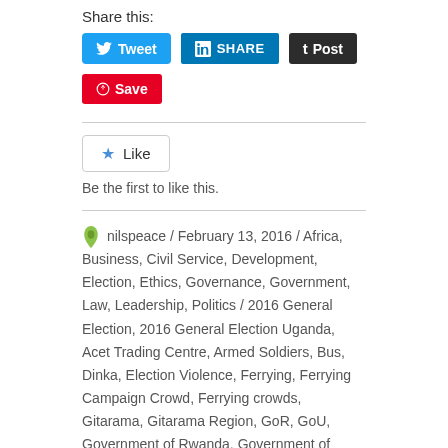Share this:
[Figure (screenshot): Social sharing buttons: Tweet (Twitter/blue), SHARE (LinkedIn/blue), Post (Tumblr/dark), Save (Pinterest/red)]
[Figure (screenshot): Like button with star icon and text 'Be the first to like this.']
Be the first to like this.
nilspeace / February 13, 2016 / Africa, Business, Civil Service, Development, Election, Ethics, Governance, Government, Law, Leadership, Politics / 2016 General Election, 2016 General Election Uganda, Acet Trading Centre, Armed Soldiers, Bus, Dinka, Election Violence, Ferrying, Ferrying Campaign Crowd, Ferrying crowds, Gitarama, Gitarama Region, GoR, GoU, Government of Rwanda, Government of Uganda, H. E. Yoweri Kaguta Museveni, Hoima, Juba, Juba City, Kabale, Kakiri - Hoima, Kamwezi, Kisoro, Lt. Gen. Yoweri